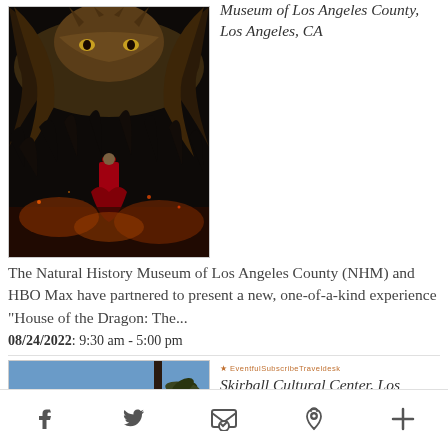[Figure (photo): Dark fantasy scene with a person in red robes standing before a large dragon, dramatic fiery lighting]
Museum of Los Angeles County, Los Angeles, CA
The Natural History Museum of Los Angeles County (NHM) and HBO Max have partnered to present a new, one-of-a-kind experience "House of the Dragon: The...
08/24/2022: 9:30 am - 5:00 pm
[Figure (photo): Canter's deli sign on a building against a blue sky with palm tree]
Skirball Cultural Center, Los
f  twitter  email  p  +